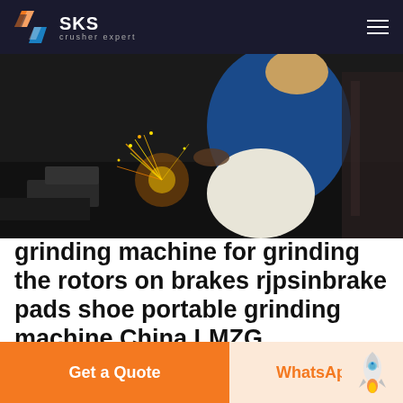SKS crusher expert
[Figure (photo): Worker crouching and grinding metal with sparks flying, industrial setting, wearing blue jacket and white trousers]
grinding machine for grinding the rotors on brakes rjpsinbrake pads shoe portable grinding machine China LMZG
rotor series grinding machine againdiain grinding machine for grinding the rotors on brak grinding machine for grinding the rotors on brakesSimply complete brake pads
Get a Quote | WhatsApp